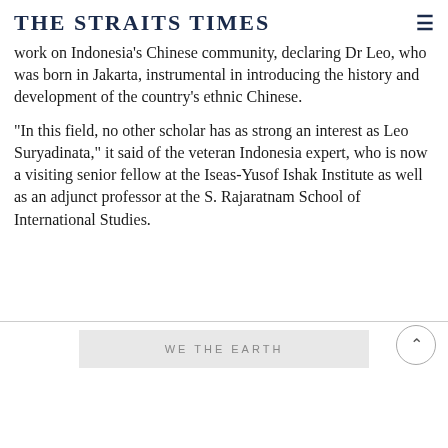THE STRAITS TIMES
work on Indonesia's Chinese community, declaring Dr Leo, who was born in Jakarta, instrumental in introducing the history and development of the country's ethnic Chinese.
"In this field, no other scholar has as strong an interest as Leo Suryadinata," it said of the veteran Indonesia expert, who is now a visiting senior fellow at the Iseas-Yusof Ishak Institute as well as an adjunct professor at the S. Rajaratnam School of International Studies.
WE THE EARTH